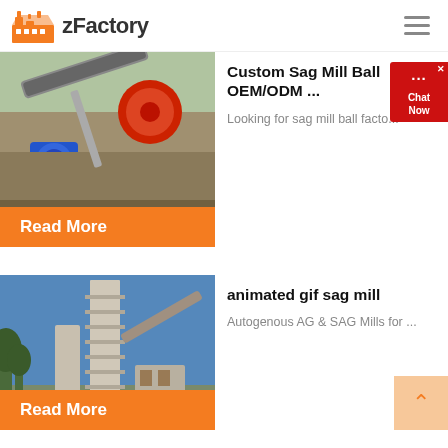zFactory
[Figure (photo): Industrial milling machine with blue motor and red wheel, outdoor setting]
Custom Sag Mill Ball OEM/ODM ...
Looking for sag mill ball facto...
Read More
[Figure (photo): Industrial cement or chemical plant with tall tower structure and conveyors, blue sky background]
animated gif sag mill
Autogenous AG & SAG Mills for ...
Read More